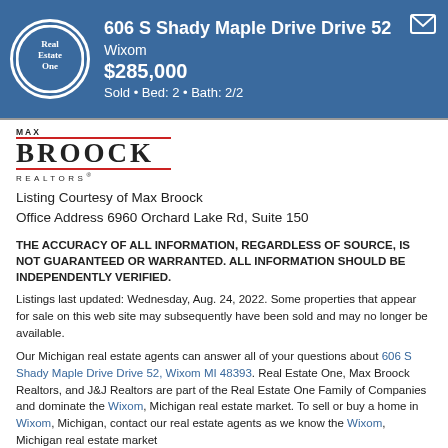606 S Shady Maple Drive Drive 52 Wixom $285,000 Sold • Bed: 2 • Bath: 2/2
[Figure (logo): Real Estate One circular logo with white border on blue background]
[Figure (logo): MAX BROOCK REALTORS logo with red underline]
Listing Courtesy of Max Broock
Office Address 6960 Orchard Lake Rd, Suite 150
THE ACCURACY OF ALL INFORMATION, REGARDLESS OF SOURCE, IS NOT GUARANTEED OR WARRANTED. ALL INFORMATION SHOULD BE INDEPENDENTLY VERIFIED.
Listings last updated: Wednesday, Aug. 24, 2022. Some properties that appear for sale on this web site may subsequently have been sold and may no longer be available.
Our Michigan real estate agents can answer all of your questions about 606 S Shady Maple Drive Drive 52, Wixom MI 48393. Real Estate One, Max Broock Realtors, and J&J Realtors are part of the Real Estate One Family of Companies and dominate the Wixom, Michigan real estate market. To sell or buy a home in Wixom, Michigan, contact our real estate agents as we know the Wixom, Michigan real estate market